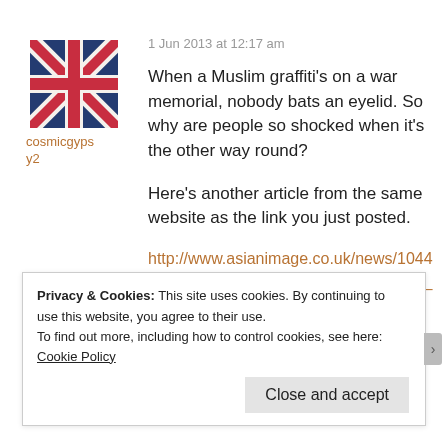[Figure (illustration): Union Jack (UK flag) avatar image]
cosmicgypsy2
1 Jun 2013 at 12:17 am
When a Muslim graffiti's on a war memorial, nobody bats an eyelid. So why are people so shocked when it's the other way round?
Here's another article from the same website as the link you just posted.
http://www.asianimage.co.uk/news/10440577.UPDATED__Mosque_vandalised_in_Bolton/?ref=ar
Privacy & Cookies: This site uses cookies. By continuing to use this website, you agree to their use.
To find out more, including how to control cookies, see here: Cookie Policy
Close and accept